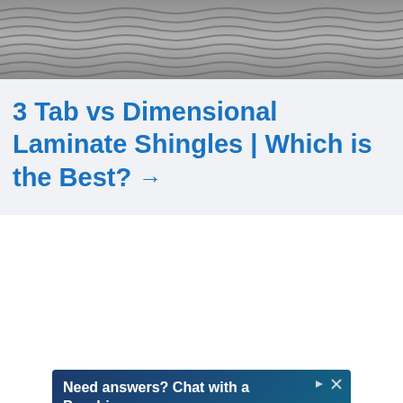[Figure (photo): Close-up photo of dark grey dimensional laminate roof shingles showing overlapping pattern]
3 Tab vs Dimensional Laminate Shingles | Which is the Best? →
[Figure (other): Advertisement banner: 'Need answers? Chat with a Psychic now. $1/ per minute* for new customers. California Psychics. Sign up now. *20 minutes purchase required']